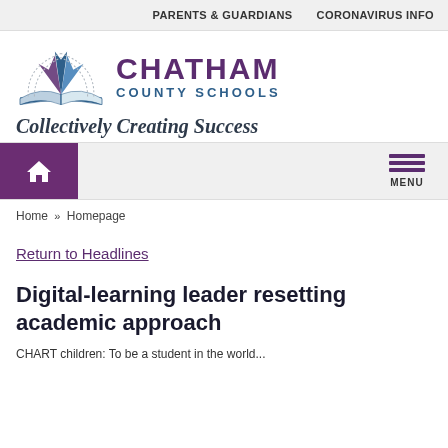PARENTS & GUARDIANS   CORONAVIRUS INFO
[Figure (logo): Chatham County Schools logo with compass/book graphic and text 'CHATHAM COUNTY SCHOOLS']
Collectively Creating Success
Home  Homepage
Return to Headlines
Digital-learning leader resetting academic approach
CHART children: To be a student in the world...